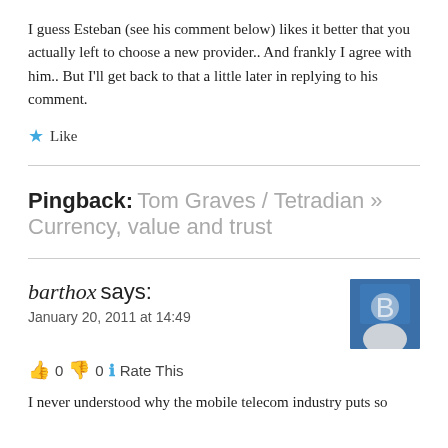I guess Esteban (see his comment below) likes it better that you actually left to choose a new provider.. And frankly I agree with him.. But I'll get back to that a little later in replying to his comment.
★ Like
Pingback: Tom Graves / Tetradian » Currency, value and trust
barthox says:
January 20, 2011 at 14:49
👍 0 👎 0 ℹ Rate This
I never understood why the mobile telecom industry puts so